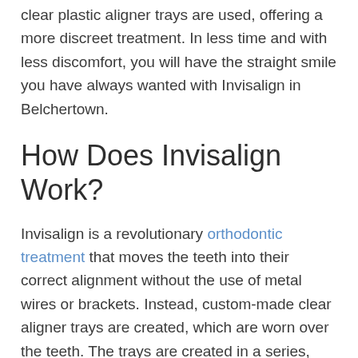clear plastic aligner trays are used, offering a more discreet treatment. In less time and with less discomfort, you will have the straight smile you have always wanted with Invisalign in Belchertown.
How Does Invisalign Work?
Invisalign is a revolutionary orthodontic treatment that moves the teeth into their correct alignment without the use of metal wires or brackets. Instead, custom-made clear aligner trays are created, which are worn over the teeth. The trays are created in a series, with each tray worn for about 2 weeks. On average, it takes about 12 months to progress through each tray in the series for a new, straight smile. At the end of treatment, you will